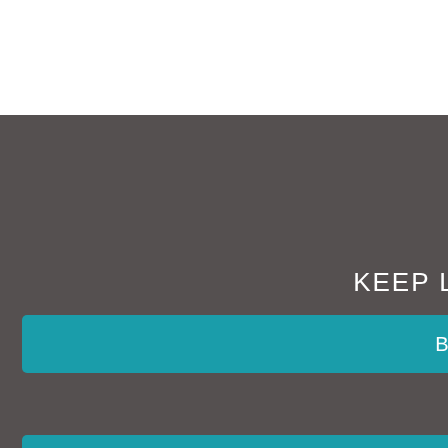KEEP LO
BA
[Figure (other): Teal rounded button/bar element 2]
THIS MONT